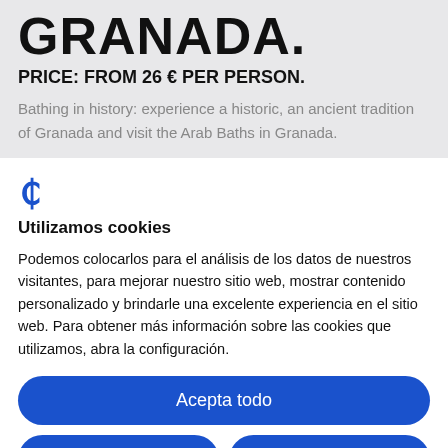GRANADA.
PRICE: FROM 26 € PER PERSON.
Bathing in history: experience a historic, an ancient tradition of Granada and visit the Arab Baths in Granada.
[Figure (logo): Blue stylized 'C' or euro-like logo icon]
Utilizamos cookies
Podemos colocarlos para el análisis de los datos de nuestros visitantes, para mejorar nuestro sitio web, mostrar contenido personalizado y brindarle una excelente experiencia en el sitio web. Para obtener más información sobre las cookies que utilizamos, abra la configuración.
Acepta todo
Rechaza
No, ajuste